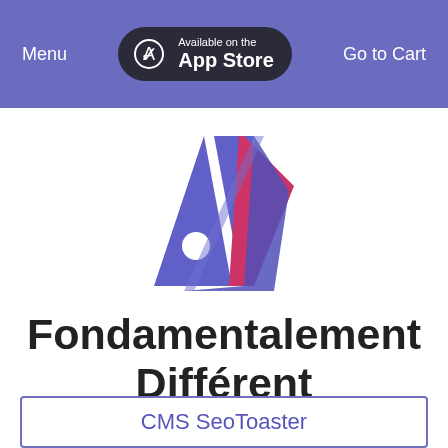Menu   Available on the App Store   Go to Cart
[Figure (logo): App logo: stylized book/folder icon with blue, white, and red/pink geometric shapes]
Fondamentalement Différent
Essayez le meilleur !
CMS SeoToaster